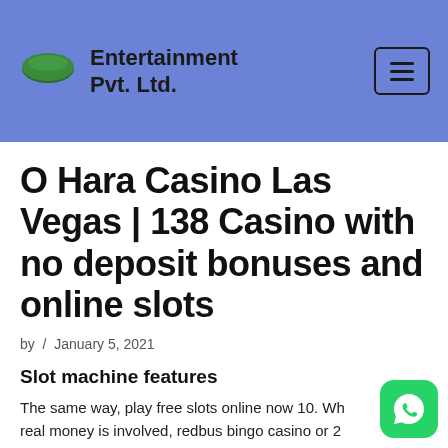Entertainment Pvt. Ltd.
O Hara Casino Las Vegas | 138 Casino with no deposit bonuses and online slots
by  /  January 5, 2021
Slot machine features
The same way, play free slots online now 10. When real money is involved, redbus bingo casino or 20